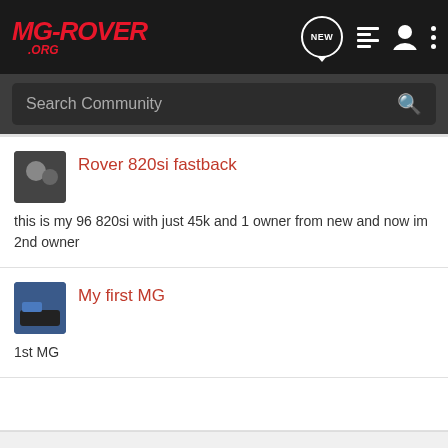MG-ROVER .ORG
Search Community
Rover 820si fastback
this is my 96 820si with just 45k and 1 owner from new and now im 2nd owner
My first MG
1st MG
< Showcase
Home  About Us  Terms of Use  Privacy Policy  Help  Business Directory  Contact Us  |  Grow Your Business  NEW